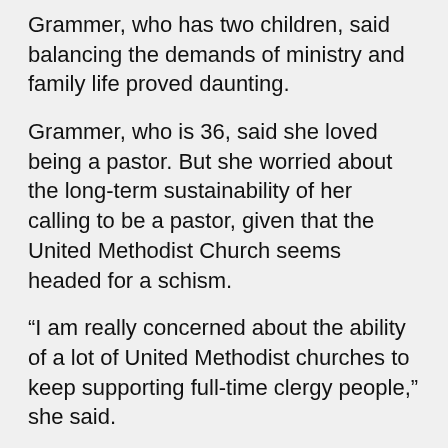Grammer, who has two children, said balancing the demands of ministry and family life proved daunting.
Grammer, who is 36, said she loved being a pastor. But she worried about the long-term sustainability of her calling to be a pastor, given that the United Methodist Church seems headed for a schism.
“I am really concerned about the ability of a lot of United Methodist churches to keep supporting full-time clergy people,” she said.
While thinking about the future, she talked with older pastors who felt it was too late for them to change careers. The advice she got was this: If you are going to leave, do it now. So she resigned from her church and went back to school to become an English teacher.
“What I love most about being a pastor is gathering people together around a text and making meaning together out of that text,” she said. Teaching literature, she said, will allow her to do the same thing.
Charlie Cotherman, pastor of Oil City Vineyard Church in